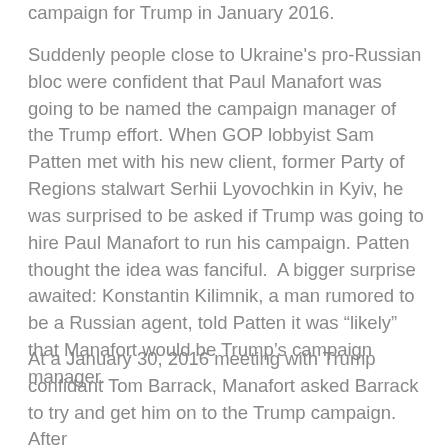campaign for Trump in January 2016.
Suddenly people close to Ukraine's pro-Russian bloc were confident that Paul Manafort was going to be named the campaign manager of the Trump effort. When GOP lobbyist Sam Patten met with his new client, former Party of Regions stalwart Serhii Lyovochkin in Kyiv, he was surprised to be asked if Trump was going to hire Paul Manafort to run his campaign. Patten thought the idea was fanciful.  A bigger surprise awaited: Konstantin Kilimnik, a man rumored to be a Russian agent, told Patten it was “likely” that Manafort would be Trump’s campaign manager.
At a January 30, 2016 meeting with Trump confidant Tom Barrack, Manafort asked Barrack to try and get him on to the Trump campaign.  After